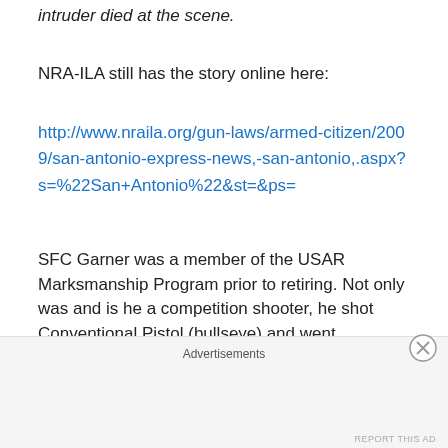intruder died at the scene.
NRA-ILA still has the story online here:
http://www.nraila.org/gun-laws/armed-citizen/2009/san-antonio-express-news,-san-antonio,.aspx?s=%22San+Antonio%22&st=&ps=
SFC Garner was a member of the USAR Marksmanship Program prior to retiring. Not only was and is he a competition shooter, he shot Conventional Pistol (bullseye) and went Distinguished in 1995. Verify this here:
Request a free account from the CMP to login if you don't already have one.
Advertisements